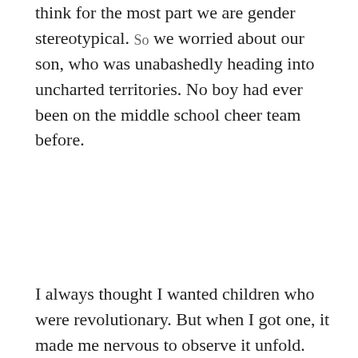think for the most part we are gender stereotypical. So we worried about our son, who was unabashedly heading into uncharted territories. No boy had ever been on the middle school cheer team before.
I always thought I wanted children who were revolutionary. But when I got one, it made me nervous to observe it unfold.